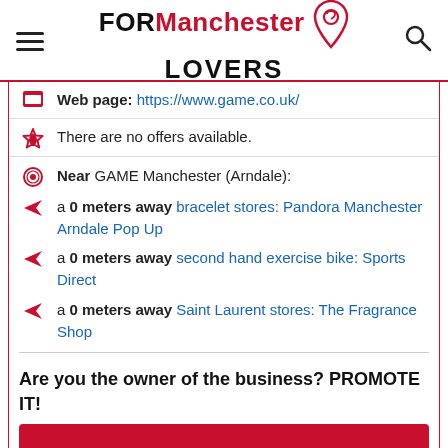FORManchester LOVERS
Web page: https://www.game.co.uk/
There are no offers available.
Near GAME Manchester (Arndale):
a 0 meters away bracelet stores: Pandora Manchester Arndale Pop Up
a 0 meters away second hand exercise bike: Sports Direct
a 0 meters away Saint Laurent stores: The Fragrance Shop
Are you the owner of the business? PROMOTE IT!